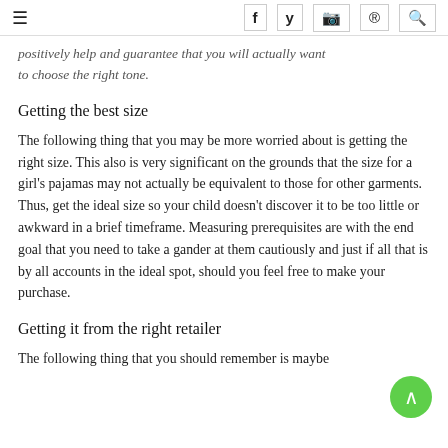≡  f  y  [instagram]  [pinterest]  [search]
positively help and guarantee that you will actually want to choose the right tone.
Getting the best size
The following thing that you may be more worried about is getting the right size. This also is very significant on the grounds that the size for a girl's pajamas may not actually be equivalent to those for other garments. Thus, get the ideal size so your child doesn't discover it to be too little or awkward in a brief timeframe. Measuring prerequisites are with the end goal that you need to take a gander at them cautiously and just if all that is by all accounts in the ideal spot, should you feel free to make your purchase.
Getting it from the right retailer
The following thing that you should remember is maybe